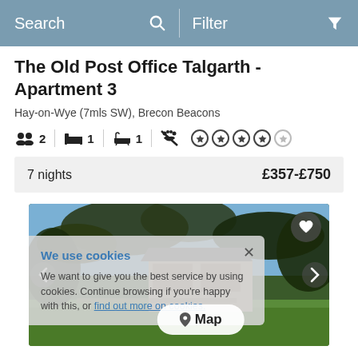Search   Filter
The Old Post Office Talgarth - Apartment 3
Hay-on-Wye (7mls SW), Brecon Beacons
2 guests  1 bedroom  1 bathroom  No pets  4 stars out of 5
7 nights   £357-£750
[Figure (photo): Exterior photo of The Old Post Office Talgarth property showing a stone building surrounded by trees and green lawn, partially obscured by a cookie consent overlay and a Map button.]